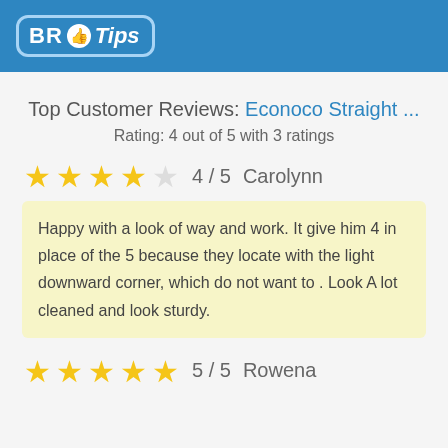BR Tips
Top Customer Reviews: Econoco Straight ...
Rating: 4 out of 5 with 3 ratings
★★★★☆ 4 / 5  Carolynn
Happy with a look of way and work. It give him 4 in place of the 5 because they locate with the light downward corner, which do not want to . Look A lot cleaned and look sturdy.
★★★★★ 5 / 5  Rowena